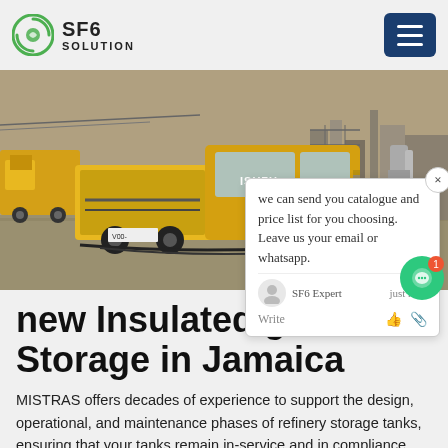SF6 SOLUTION
[Figure (photo): Yellow ISUZU truck on a work site with industrial equipment and scaffolding in the background.]
new Insulated gas Storage in Jamaica
MISTRAS offers decades of experience to support the design, operational, and maintenance phases of refinery storage tanks, ensuring that your tanks remain in-service and in compliance. Our storage tank protection solutions include: Engineering